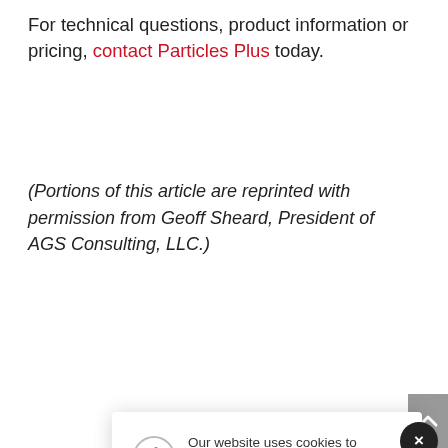For technical questions, product information or pricing, contact Particles Plus today.
(Portions of this article are reprinted with permission from Geoff Sheard, President of AGS Consulting, LLC.)
Our website uses cookies to provide you the best experience. However, by continuing to use our website, you agree to our use of cookies. Thank you.
Accept
Particles
Boston, MA – June 14, 2022 – Particles Plus Inc. is excited to have Sotirios Papathanasiou on board.